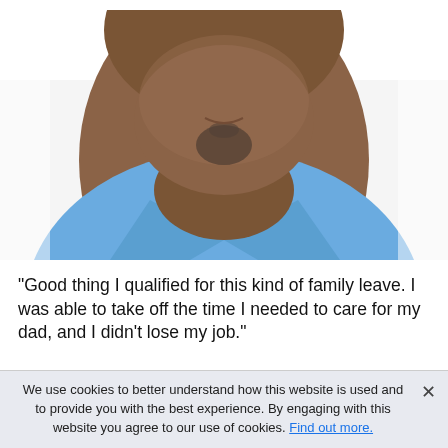[Figure (photo): Close-up photo of a smiling Black man with a goatee, wearing a light blue collared shirt, white background, cropped from shoulders up showing face/neck/chest area.]
"Good thing I qualified for this kind of family leave. I was able to take off the time I needed to care for my dad, and I didn't lose my job."
We use cookies to better understand how this website is used and to provide you with the best experience. By engaging with this website you agree to our use of cookies. Find out more.